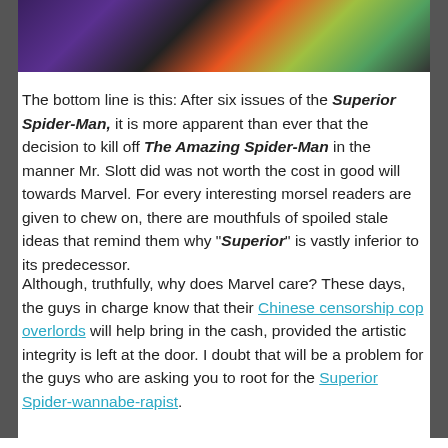[Figure (photo): Partial comic book image showing superhero characters in action, cropped at top of page]
The bottom line is this: After six issues of the Superior Spider-Man, it is more apparent than ever that the decision to kill off The Amazing Spider-Man in the manner Mr. Slott did was not worth the cost in good will towards Marvel. For every interesting morsel readers are given to chew on, there are mouthfuls of spoiled stale ideas that remind them why "Superior" is vastly inferior to its predecessor.
Although, truthfully, why does Marvel care? These days, the guys in charge know that their Chinese censorship cop overlords will help bring in the cash, provided the artistic integrity is left at the door. I doubt that will be a problem for the guys who are asking you to root for the Superior Spider-wannabe-rapist.